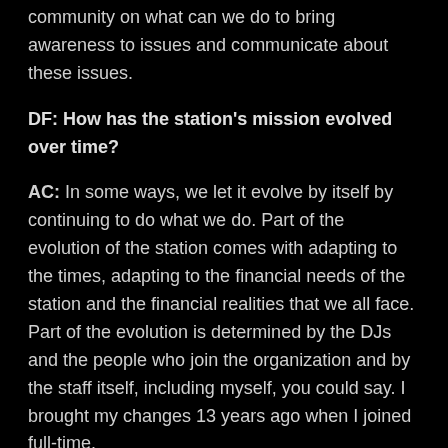community on what can we do to bring awareness to issues and communicate about these issues.
DF: How has the station's mission evolved over time?
AC: In some ways, we let it evolve by itself by continuing to do what we do. Part of the evolution of the station comes with adapting to the times, adapting to the financial needs of the station and the financial realities that we all face. Part of the evolution is determined by the DJs and the people who join the organization and by the staff itself, including myself, you could say. I brought my changes 13 years ago when I joined full-time.
And then, we continue to see evolution through the new staff that has joined Dublab. You have Rachel Day, Lottie Moore, people like Jay Are, Gabrielle Costa and Brennan Mackay and Chuck Soo-Hoo. What's been important for Dublab is to